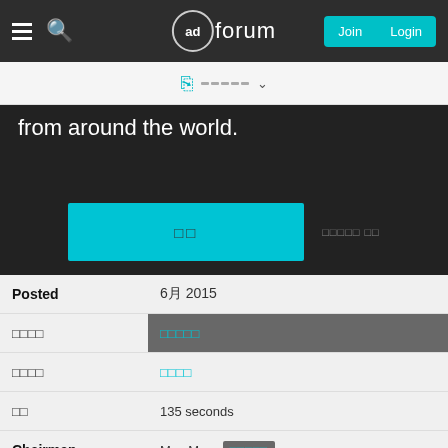adforum — Join Login
[Figure (screenshot): Toolbar with copy icon, bar icon, and dropdown arrow]
from around the world.
[Figure (screenshot): Cyan button with Korean text and side label]
| Field | Value |
| --- | --- |
| Posted | 6月 2015 |
| □□□□ | □□□□□ |
| □□□□ | □□□□ |
| □□ | 135 seconds |
| Chairman | M..c M..c  □□□□□ |